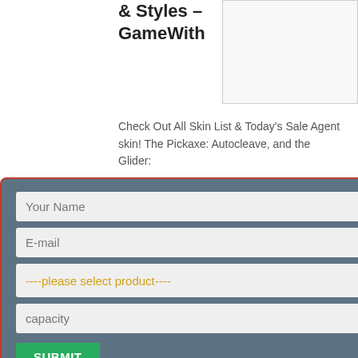& Styles – GameWith
Check Out All Skin List & Today's Sale Agent skin! The Pickaxe: Autocleave, and the Glider:
he Contagion set!
[Figure (screenshot): A contact/inquiry modal form with fields: Your Name, E-mail, a dropdown '----please select product----', a capacity field, and a SUBMIT button. The modal has a dark blue-grey background with a red border and an X close button.]
More
[Figure (photo): Industrial facility interior showing large blue cylindrical equipment/boiler with yellow piping and metal walkways.]
Check Out All Skin List & Today's Sale AUTOCLEAVE – TOXIC TROOPER Pickaxe. AUTOCLEAVE Skin Review – AUTOCLEAVE. It's